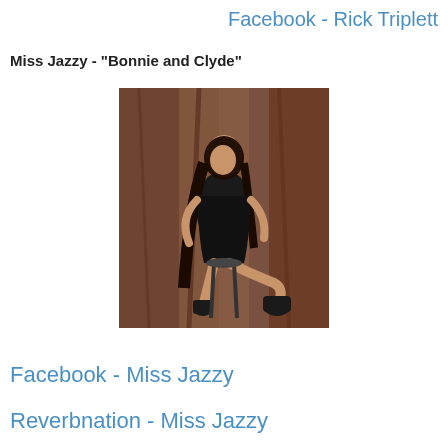Facebook - Rick Triplett
Miss Jazzy - "Bonnie and Clyde"
[Figure (photo): A young woman in a black leather mini dress and black high-heeled boots, seated on a stool, with long dark hair, posed against a reddish-brown textured backdrop.]
Facebook - Miss Jazzy
Reverbnation - Miss Jazzy